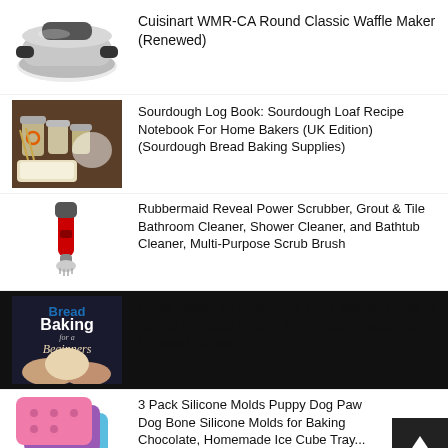[Figure (photo): Cuisinart WMR-CA Round Classic Waffle Maker product photo on white background]
Cuisinart WMR-CA Round Classic Waffle Maker (Renewed)
[Figure (photo): Sourdough baking supplies: jars, loaf pan, wheat on wooden board]
Sourdough Log Book: Sourdough Loaf Recipe Notebook For Home Bakers (UK Edition) (Sourdough Bread Baking Supplies)
[Figure (photo): Rubbermaid Reveal Power Scrubber in red and gray on white background]
Rubbermaid Reveal Power Scrubber, Grout & Tile Bathroom Cleaner, Shower Cleaner, and Bathtub Cleaner, Multi-Purpose Scrub Brush
[Figure (photo): Bread Baking for Beginners book cover showing title and hands holding bread dough]
Bread Baking for Beginners: The Essential Guide to Baking Kneaded Breads, No-Knead Breads, and Enriched Breads
[Figure (photo): 3 Pack Silicone Molds in pink, purple, and blue with puppy dog paw and bone shapes]
3 Pack Silicone Molds Puppy Dog Paw Dog Bone Silicone Molds for Baking Chocolate, Homemade Ice Cube Tray...